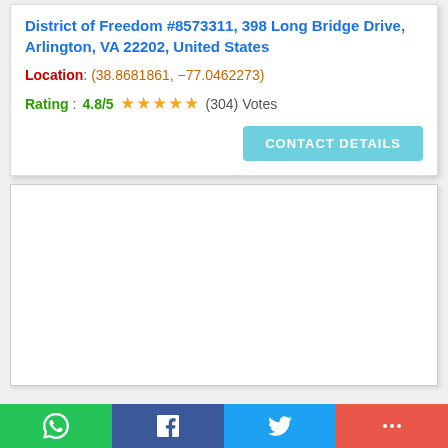District of Freedom #8573311, 398 Long Bridge Drive, Arlington, VA 22202, United States
Location: (38.8681861, -77.0462273)
Rating: 4.8/5 ★★★★★ (304) Votes
CONTACT DETAILS
[Figure (other): Blank white content card area]
[Figure (other): Social sharing bar with WhatsApp, Facebook, Twitter, and More buttons]